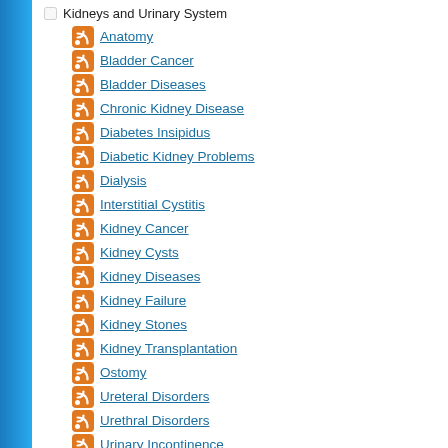Kidneys and Urinary System
Anatomy
Bladder Cancer
Bladder Diseases
Chronic Kidney Disease
Diabetes Insipidus
Diabetic Kidney Problems
Dialysis
Interstitial Cystitis
Kidney Cancer
Kidney Cysts
Kidney Diseases
Kidney Failure
Kidney Stones
Kidney Transplantation
Ostomy
Ureteral Disorders
Urethral Disorders
Urinary Incontinence
Urinary Tract Infections
Urine and Urination
Wegener's Granulomatosis
Wilms' Tumor